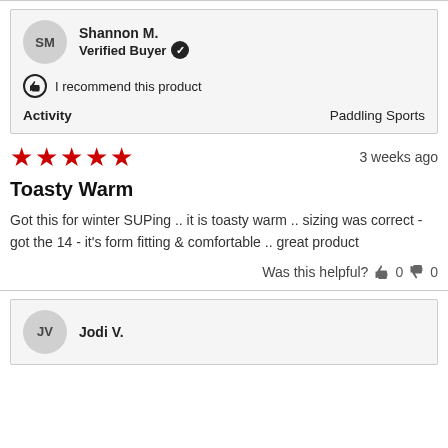Shannon M.
Verified Buyer ✓
I recommend this product
Activity: Paddling Sports
★★★★★  3 weeks ago
Toasty Warm
Got this for winter SUPing .. it is toasty warm .. sizing was correct - got the 14 - it's form fitting & comfortable .. great product
Was this helpful? 👍 0  👎 0
Jodi V.